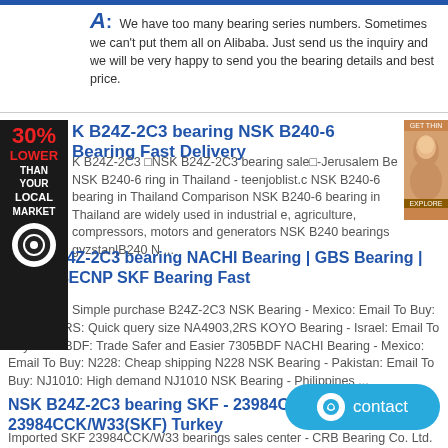A: We have too many bearing series numbers. Sometimes we can't put them all on Alibaba. Just send us the inquiry and we will be very happy to send you the bearing details and best price.
[Figure (infographic): Red and dark advertisement banner with '30% LOWER THAN YOUR LOCAL MARKET' text and a circular badge logo]
[Figure (photo): Small advertisement image showing a woman's face on an orange/brown background with 'get thin' text]
K B24Z-2C3 bearing NSK B240-6 Bearing Fast Delivery
K B24Z-2C3 □NSK B24Z-2C3 bearing sale□-Jerusalem Be NSK B240-6 ring in Thailand - teenjoblist.c NSK B240-6 bearing in Thailand Comparison NSK B240-6 bearing in Thailand are widely used in industrial e, agriculture, compressors, motors and generators NSK B240 bearings gyzstan|B240 N ...
NSK B24Z-2C3 bearing NACHI Bearing | GBS Bearing | NUP314ECNP SKF Bearing Fast
B24Z-2C3: Simple purchase B24Z-2C3 NSK Bearing - Mexico: Email To Buy: NA4903,2RS: Quick query size NA4903,2RS KOYO Bearing - Israel: Email To Buy: 7305BDF: Trade Safer and Easier 7305BDF NACHI Bearing - Mexico: Email To Buy: N228: Cheap shipping N228 NSK Bearing - Pakistan: Email To Buy: NJ1010: High demand NJ1010 NSK Bearing - Philippines ...
NSK B24Z-2C3 bearing SKF - 23984CCK/W33 B 23984CCK/W33(SKF) Turkey
Imported SKF 23984CCK/W33 bearings sales center - CRB Bearing Co. Ltd.